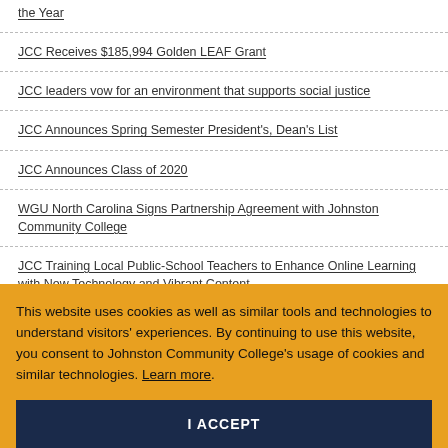the Year
JCC Receives $185,994 Golden LEAF Grant
JCC leaders vow for an environment that supports social justice
JCC Announces Spring Semester President's, Dean's List
JCC Announces Class of 2020
WGU North Carolina Signs Partnership Agreement with Johnston Community College
JCC Training Local Public-School Teachers to Enhance Online Learning with New Technology and Vibrant Content
TRIO Program Receives Renewed Federal Funding
Statement about Covid-19 Cases and Response at Johnston Community College
This website uses cookies as well as similar tools and technologies to understand visitors' experiences. By continuing to use this website, you consent to Johnston Community College’s usage of cookies and similar technologies. Learn more.
I ACCEPT